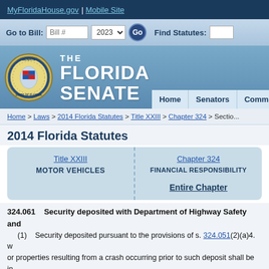MyFloridaHouse.gov | Mobile Site
Go to Bill: Bill # 2023 Go   Find Statutes: 20
[Figure (logo): The Florida Senate seal and banner with Home, Senators, Committees navigation tabs]
Home > Laws > 2014 Florida Statutes > Title XXIII > Chapter 324 > Sectio...
2014 Florida Statutes
| Title XXIII | Chapter 324 |
| --- | --- |
| MOTOR VEHICLES | FINANCIAL RESPONSIBILITY |
|  | Entire Chapter |
324.061    Security deposited with Department of Highway Safety and
(1)    Security deposited pursuant to the provisions of s. 324.051(2)(a)4. w
or properties resulting from a crash occurring prior to such deposit shall be in
department which, in its judgment, will be sufficient to compensate for all in
case shall the amount exceed the limits as specified in s. 324.021(7).